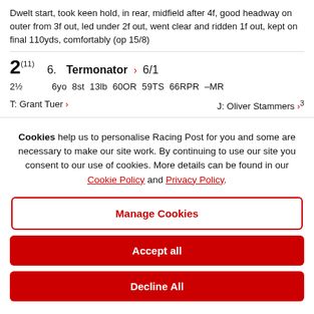Dwelt start, took keen hold, in rear, midfield after 4f, good headway on outer from 3f out, led under 2f out, went clear and ridden 1f out, kept on final 110yds, comfortably (op 15/8)
2(11)  6.  Termonator > 6/1
2½  6yo 8st 13lb 60OR 59TS 66RPR –MR
T: Grant Tuer >   J: Oliver Stammers >3
Cookies help us to personalise Racing Post for you and some are necessary to make our site work. By continuing to use our site you consent to our use of cookies. More details can be found in our Cookie Policy and Privacy Policy.
Manage Cookies
Accept all
Decline All